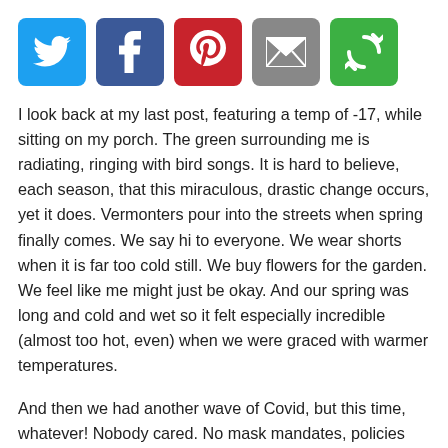[Figure (infographic): Row of five social sharing icon buttons: Twitter (blue bird), Facebook (blue f), Pinterest (red P), Email (grey envelope), Share (green circular arrows)]
I look back at my last post, featuring a temp of -17, while sitting on my porch. The green surrounding me is radiating, ringing with bird songs. It is hard to believe, each season, that this miraculous, drastic change occurs, yet it does. Vermonters pour into the streets when spring finally comes. We say hi to everyone. We wear shorts when it is far too cold still. We buy flowers for the garden. We feel like me might just be okay. And our spring was long and cold and wet so it felt especially incredible (almost too hot, even) when we were graced with warmer temperatures.
And then we had another wave of Covid, but this time, whatever! Nobody cared. No mask mandates, policies where you don't have to be negative to come to school, you can still come with symptoms. All the big events, unmasked. Anyone who had gotten sick did. So maybe for that passing feeling...